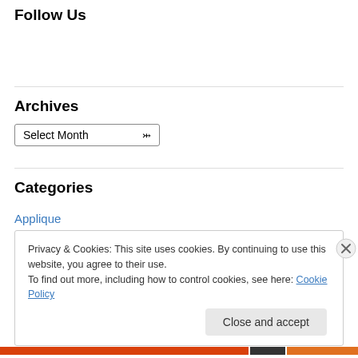Follow Us
Archives
Select Month
Categories
Applique
Privacy & Cookies: This site uses cookies. By continuing to use this website, you agree to their use.
To find out more, including how to control cookies, see here: Cookie Policy
Close and accept